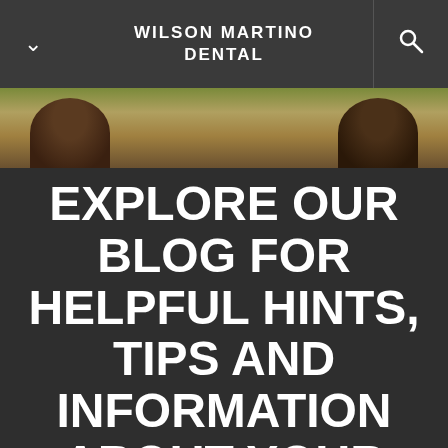WILSON MARTINO DENTAL
[Figure (photo): Partial photo of people outdoors with blurred background, showing tops of heads]
EXPLORE OUR BLOG FOR HELPFUL HINTS, TIPS AND INFORMATION ABOUT YOUR DENTAL CARE. WE MAY EVEN THROW IN SOME